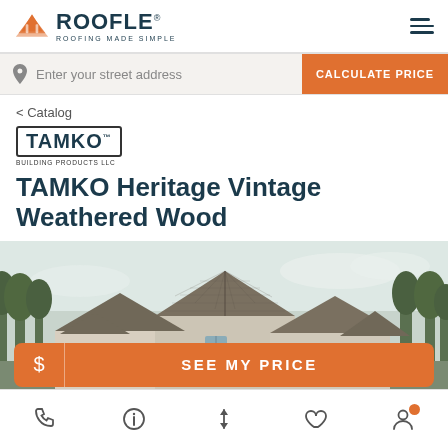[Figure (logo): ROOFLE logo with orange roof icon and tagline ROOFING MADE SIMPLE]
Enter your street address
CALCULATE PRICE
< Catalog
[Figure (logo): TAMKO Building Products LLC logo in rectangular border]
TAMKO Heritage Vintage Weathered Wood
[Figure (photo): Photo of house with Weathered Wood roofing shingles, gabled roof structure with trees in background]
$ SEE MY PRICE
[Figure (infographic): Bottom navigation bar with phone, info, sort, heart, and profile icons]